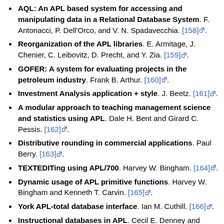AQL: An APL based system for accessing and manipulating data in a Relational Database System. F. Antonacci, P. Dell'Orco, and V. N. Spadavecchia. [158].
Reorganization of the APL libraries. E. Armitage, J. Chenier, C. Leibovitz, D. Precht, and Y. Zia. [159].
GOFER: A system for evaluating projects in the petroleum industry. Frank B. Arthur. [160].
Investment Analysis application + style. J. Beetz. [161].
A modular approach to teaching management science and statistics using APL. Dale H. Bent and Girard C. Pessis. [162].
Distributive rounding in commercial applications. Paul Berry. [163].
TEXTEDITing using APL/700. Harvey W. Bingham. [164].
Dynamic usage of APL primitive functions. Harvey W. Bingham and Kenneth T. Carvin. [165].
York APL-total database interface. Ian M. Cuthill. [166].
Instructional databases in APL. Cecil E. Denney and Ronald E. Converse. [167].
APL functions which are APL based... (partial)